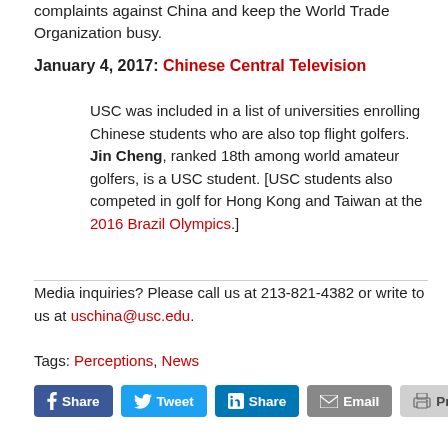complaints against China and keep the World Trade Organization busy.
January 4, 2017: Chinese Central Television
USC was included in a list of universities enrolling Chinese students who are also top flight golfers. Jin Cheng, ranked 18th among world amateur golfers, is a USC student. [USC students also competed in golf for Hong Kong and Taiwan at the 2016 Brazil Olympics.]
Media inquiries? Please call us at 213-821-4382 or write to us at uschina@usc.edu.
Tags: Perceptions, News